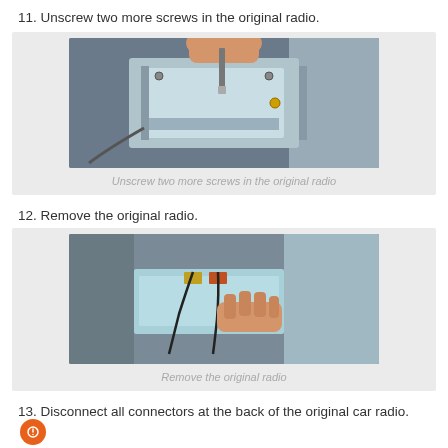11. Unscrew two more screws in the original radio.
[Figure (photo): Photo showing a hand using a screwdriver to unscrew screws in a car radio unit that is partially removed from the dashboard.]
Unscrew two more screws in the original radio
12. Remove the original radio.
[Figure (photo): Photo showing a hand gripping and pulling out the original car radio unit from the dashboard, with cables visible.]
Remove the original radio
13. Disconnect all connectors at the back of the original car radio.